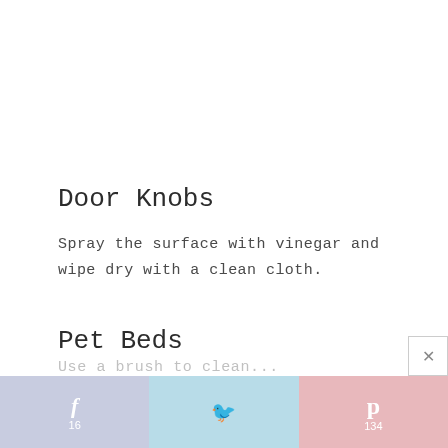Door Knobs
Spray the surface with vinegar and wipe dry with a clean cloth.
Pet Beds
f 16  [twitter bird]  p 134